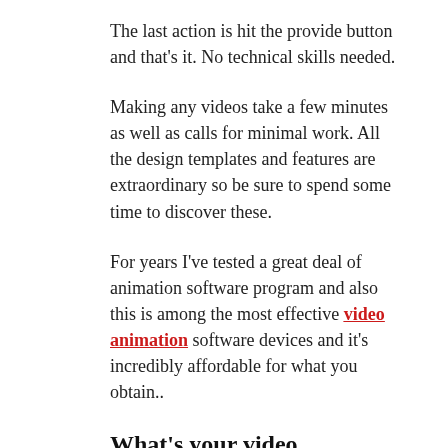The last action is hit the provide button and that's it. No technical skills needed.
Making any videos take a few minutes as well as calls for minimal work. All the design templates and features are extraordinary so be sure to spend some time to discover these.
For years I've tested a great deal of animation software program and also this is among the most effective video animation software devices and it's incredibly affordable for what you obtain..
What's your video animation game plan?
By currently you need to have a game plan in place. You can either look all over the net or